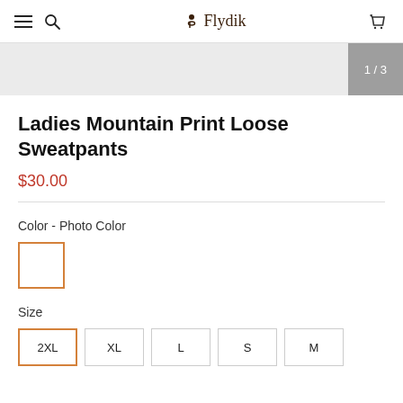Flydik — navigation header with hamburger, search, logo, cart
[Figure (other): Product image area placeholder showing image counter 1/3 in grey overlay on right side]
Ladies Mountain Print Loose Sweatpants
$30.00
Color - Photo Color
[Figure (other): Color swatch box with orange border, white fill, representing Photo Color selection]
Size
2XL  XL  L  S  M